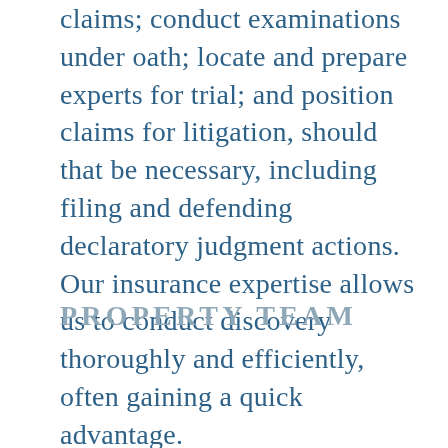claims; conduct examinations under oath; locate and prepare experts for trial; and position claims for litigation, should that be necessary, including filing and defending declaratory judgment actions. Our insurance expertise allows us to conduct discovery thoroughly and efficiently, often gaining a quick advantage.
PROPERTY TEAM